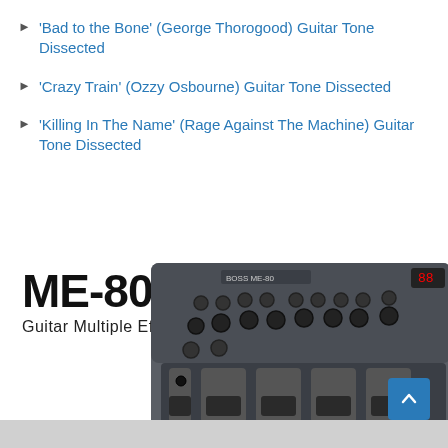'Bad to the Bone' (George Thorogood) Guitar Tone Dissected
'Crazy Train' (Ozzy Osbourne) Guitar Tone Dissected
'Killing In The Name' (Rage Against The Machine) Guitar Tone Dissected
[Figure (photo): BOSS ME-80 Guitar Multiple Effects processor shown from above-front angle, a grey multi-knob/pedal device with red LED display]
ME-80
Guitar Multiple Effects